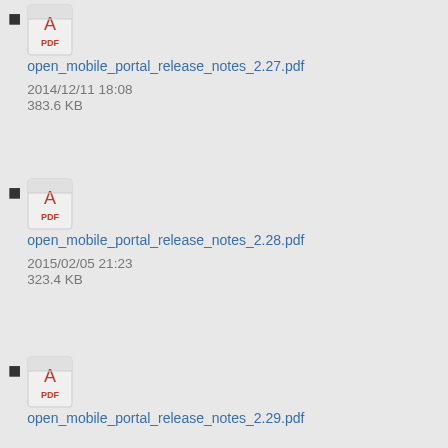open_mobile_portal_release_notes_2.27.pdf
2014/12/11 18:08
383.6 KB
open_mobile_portal_release_notes_2.28.pdf
2015/02/05 21:23
323.4 KB
open_mobile_portal_release_notes_2.29.pdf
2015/03/26 19:26
322.5 KB
open_mobile_portal_release_notes_2.30.pdf
2015/05/18 19:48